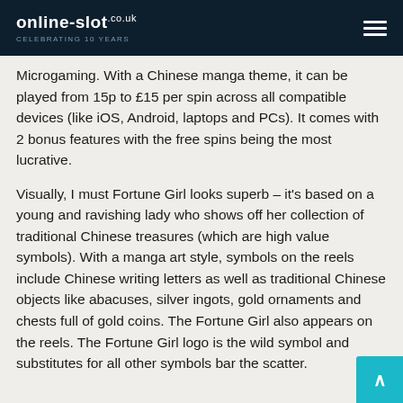online-slot.co.uk CELEBRATING 10 YEARS
Microgaming. With a Chinese manga theme, it can be played from 15p to £15 per spin across all compatible devices (like iOS, Android, laptops and PCs). It comes with 2 bonus features with the free spins being the most lucrative.
Visually, I must Fortune Girl looks superb – it's based on a young and ravishing lady who shows off her collection of traditional Chinese treasures (which are high value symbols). With a manga art style, symbols on the reels include Chinese writing letters as well as traditional Chinese objects like abacuses, silver ingots, gold ornaments and chests full of gold coins. The Fortune Girl also appears on the reels. The Fortune Girl logo is the wild symbol and substitutes for all other symbols bar the scatter.